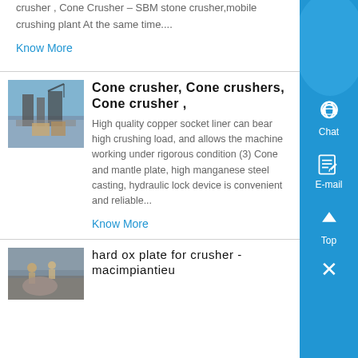crusher , Cone Crusher – SBM stone crusher,mobile crushing plant At the same time....
Know More
[Figure (photo): Industrial cone crusher equipment at a facility]
Cone crusher, Cone crushers, Cone crusher ,
High quality copper socket liner can bear high crushing load, and allows the machine working under rigorous condition (3) Cone and mantle plate, high manganese steel casting, hydraulic lock device is convenient and reliable...
Know More
[Figure (photo): Workers at a mining or crushing facility]
hard ox plate for crusher - macimpiantieu